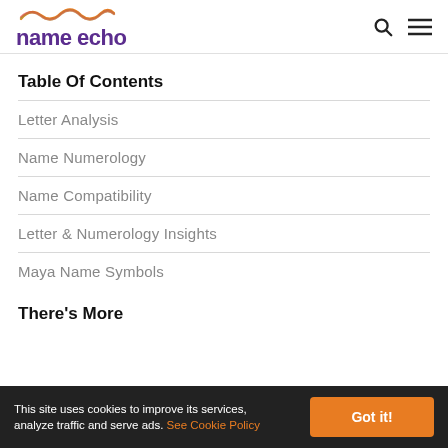name echo
Table Of Contents
Letter Analysis
Name Numerology
Name Compatibility
Letter & Numerology Insights
Maya Name Symbols
There's More
This site uses cookies to improve its services, analyze traffic and serve ads. See Cookie Policy